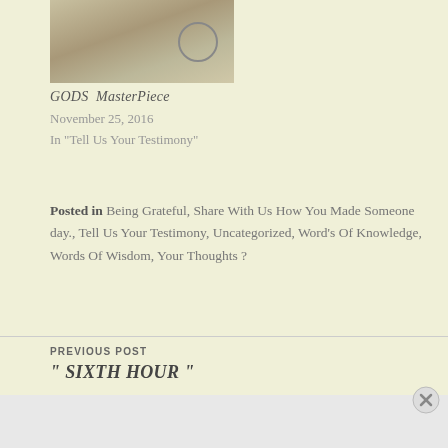[Figure (photo): Thumbnail image of what appears to be a book or receipt with text and a circular stamp/seal]
GODS MasterPiece
November 25, 2016
In "Tell Us Your Testimony"
Posted in Being Grateful, Share With Us How You Made Someone day., Tell Us Your Testimony, Uncategorized, Word's Of Knowledge, Words Of Wisdom, Your Thoughts ?
PREVIOUS POST
" SIXTH HOUR "
Advertisements
[Figure (screenshot): DuckDuckGo advertisement banner: 'Search, browse, and email with more privacy. All in One Free App' with DuckDuckGo logo]